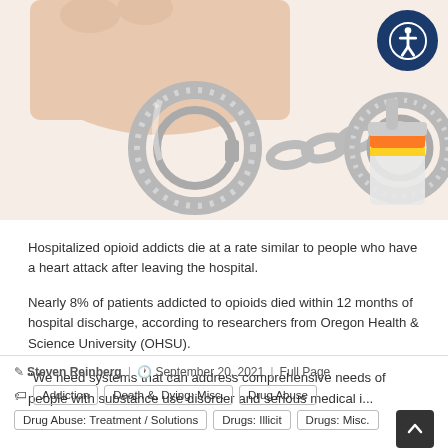[Figure (photo): Close-up photo of handcuffs on a wrist with a prescription pill bottle in the background, on a white background. Accessibility icon in top-right corner.]
Hospitalized opioid addicts die at a rate similar to people who have a heart attack after leaving the hospital.
Nearly 8% of patients addicted to opioids died within 12 months of hospital discharge, according to researchers from Oregon Health & Science University (OHSU).
"We need systems that can address comprehensive needs of people with substance use disorder and serious medical i...
Steven Reinberg | September 20, 2021 | Full Page
Addiction  Death &, Dying: Misc.  Drug Abuse
Drug Abuse: Treatment / Solutions  Drugs: Illicit  Drugs: Misc.